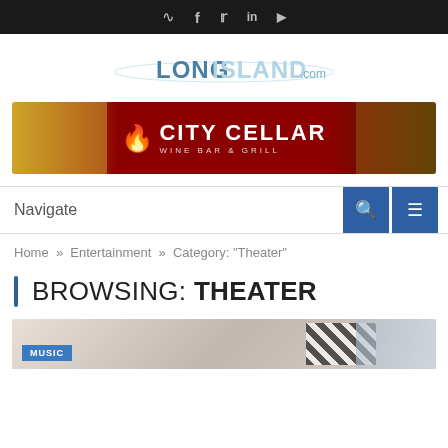Social icons bar (RSS, Facebook, Twitter, LinkedIn, YouTube)
[Figure (logo): LongIsland.com logo with stylized text and wave graphic]
[Figure (illustration): City Cellar Wine Bar & Grill advertisement banner]
Navigate
Home » Entertainment » Category: "Theater"
BROWSING:  THEATER
[Figure (photo): Partial image with MUSIC tag label at bottom left]